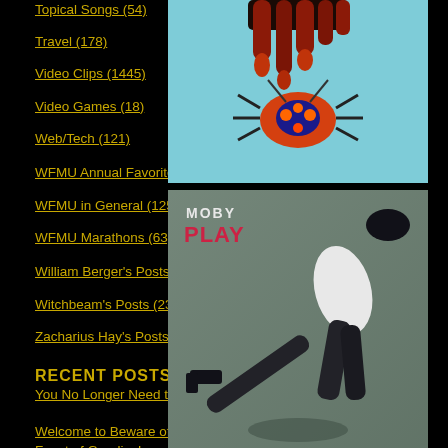Topical Songs (54)
Travel (178)
Video Clips (1445)
Video Games (18)
Web/Tech (121)
WFMU Annual Favorites Lists (34)
WFMU in General (1257)
WFMU Marathons (63)
William Berger's Posts (175)
Witchbeam's Posts (23)
Zacharius Hay's Posts (14)
RECENT POSTS
You No Longer Need to Beware of the Blog
Welcome to Beware of the Blog - Enjoy Our Bountiful Feast of Goodies!
Moving the Reel to Reel
[Figure (photo): Album cover with colorful dripping organic imagery on light blue background (top image)]
[Figure (photo): Moby - Play album cover showing overhead view of person lying on grey floor with text 'MOBY PLAY' in top left]